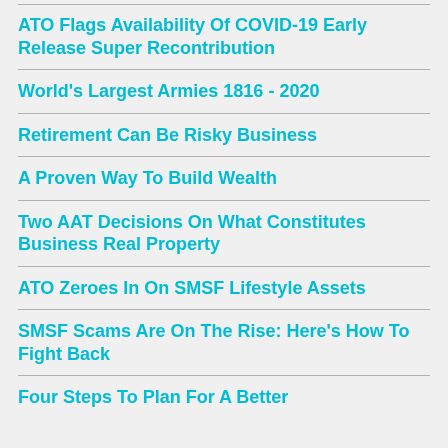ATO Flags Availability Of COVID-19 Early Release Super Recontribution
World's Largest Armies 1816 - 2020
Retirement Can Be Risky Business
A Proven Way To Build Wealth
Two AAT Decisions On What Constitutes Business Real Property
ATO Zeroes In On SMSF Lifestyle Assets
SMSF Scams Are On The Rise: Here's How To Fight Back
Four Steps To Plan For A Better